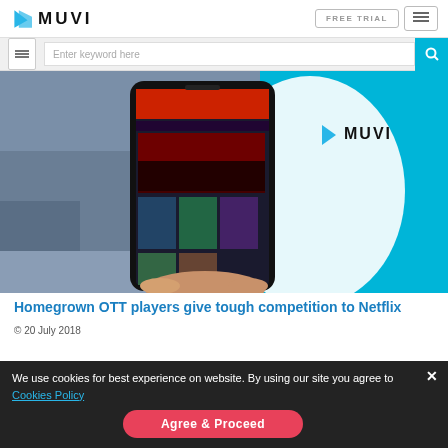MUVI — FREE TRIAL navigation header with hamburger menu
[Figure (screenshot): Muvi website header with logo, FREE TRIAL button, hamburger icon, search bar with 'Enter keyword here' placeholder and search button]
[Figure (photo): Hand holding a smartphone displaying a streaming app (HOTMAX) with movie/show thumbnails, overlaid on a cyan/blue Muvi branded background with Muvi logo]
Homegrown OTT players give tough competition to Netflix
© 20 July 2018
We use cookies for best experience on website. By using our site you agree to Cookies Policy
Agree & Proceed